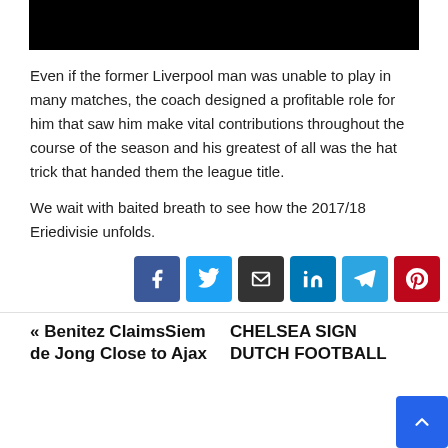[Figure (photo): Black image/video bar at top of page]
Even if the former Liverpool man was unable to play in many matches, the coach designed a profitable role for him that saw him make vital contributions throughout the course of the season and his greatest of all was the hat trick that handed them the league title.
We wait with baited breath to see how the 2017/18 Eriedivisie unfolds.
[Figure (infographic): Social share buttons row: Facebook, Twitter, Email, LinkedIn, Telegram, Pinterest]
« Benitez ClaimsSiem de Jong Close to Ajax
CHELSEA SIGN DUTCH FOOTBALL